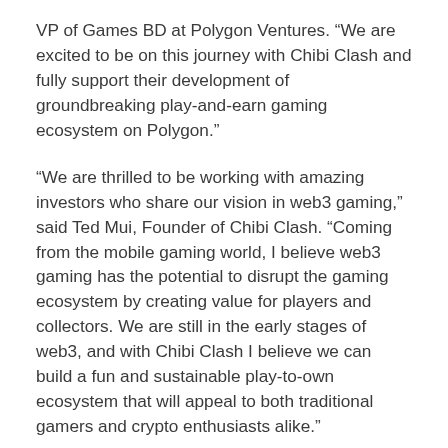VP of Games BD at Polygon Ventures. “We are excited to be on this journey with Chibi Clash and fully support their development of groundbreaking play-and-earn gaming ecosystem on Polygon.”
“We are thrilled to be working with amazing investors who share our vision in web3 gaming,” said Ted Mui, Founder of Chibi Clash. “Coming from the mobile gaming world, I believe web3 gaming has the potential to disrupt the gaming ecosystem by creating value for players and collectors. We are still in the early stages of web3, and with Chibi Clash I believe we can build a fun and sustainable play-to-own ecosystem that will appeal to both traditional gamers and crypto enthusiasts alike.”
###
About Chibi Clash